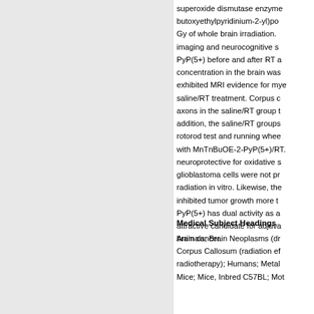superoxide dismutase enzyme MnTnBuOE-2-butoxyethylpyridinium-2-yl)po Gy of whole brain irradiation. imaging and neurocognitive s PyP(5+) before and after RT a concentration in the brain was exhibited MRI evidence for mye saline/RT treatment. Corpus c axons in the saline/RT group t addition, the saline/RT groups rotorod test and running whee with MnTnBuOE-2-PyP(5+)/RT. neuroprotective for oxidative s glioblastoma cells were not pr radiation in vitro. Likewise, the inhibited tumor growth more t PyP(5+) has dual activity as a attractive candidate for adjuva brain cancer.
Medical Subject Headings
Animals; Brain Neoplasms (dr Corpus Callosum (radiation ef radiotherapy); Humans; Metal Mice; Mice, Inbred C57BL; Mot